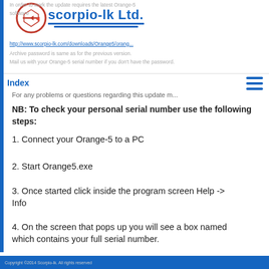[Figure (logo): Scorpio-lk Ltd. logo with circular emblem and blue text]
In order to work the update requires the latest Orange-5 software http://www.scorpio-lk.com/downloads/Orange5/orange... Archive password is same as for the previous version. Mail us with your Orange-5 serial number if you don't have the password.
For any problems or questions regarding this update m...
Index
NB: To check your personal serial number use the following steps:
1. Connect your Orange-5 to a PC
2. Start Orange5.exe
3. Once started click inside the program screen Help -> Info
4. On the screen that pops up you will see a box named which contains your full serial number.
Copyright ©2014 Scorpio-lk. All rights reserved